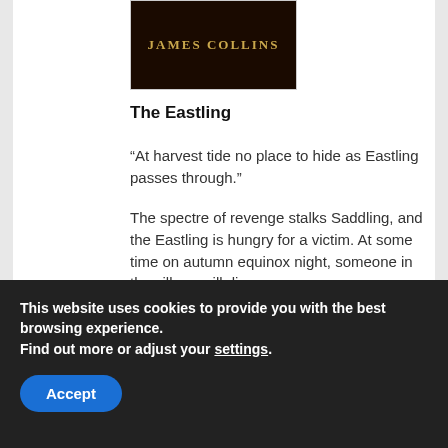[Figure (illustration): Book cover with dark background showing author name JAMES COLLINS in gold/yellow serif letters]
The Eastling
“At harvest tide no place to hide as Eastling passes through.”
The spectre of revenge stalks Saddling, and the Eastling is hungry for a victim. At some time on autumn equinox night, someone in the village will die.
Tom Carey fights to hold a divided village together while racing to unlock the riddle of a boy long dead. But pages of the Lore are mysteriously missing, and all he has to
This website uses cookies to provide you with the best browsing experience.
Find out more or adjust your settings.
Accept